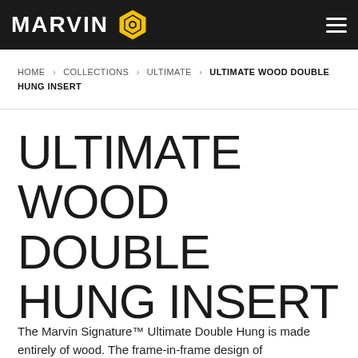MARVIN
HOME > COLLECTIONS > ULTIMATE > ULTIMATE WOOD DOUBLE HUNG INSERT
ULTIMATE WOOD DOUBLE HUNG INSERT
The Marvin Signature™ Ultimate Double Hung is made entirely of wood. The frame-in-frame design of